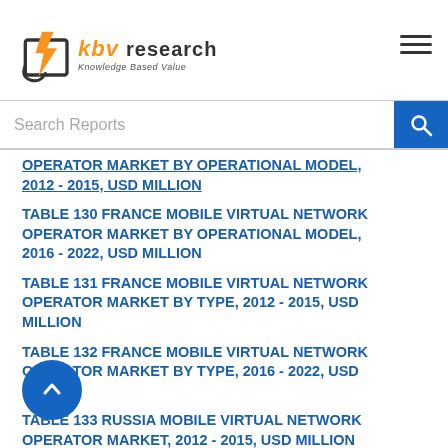KBV Research - Knowledge Based Value
OPERATOR MARKET BY OPERATIONAL MODEL, 2012 - 2015, USD MILLION
TABLE 130 FRANCE MOBILE VIRTUAL NETWORK OPERATOR MARKET BY OPERATIONAL MODEL, 2016 - 2022, USD MILLION
TABLE 131 FRANCE MOBILE VIRTUAL NETWORK OPERATOR MARKET BY TYPE, 2012 - 2015, USD MILLION
TABLE 132 FRANCE MOBILE VIRTUAL NETWORK OPERATOR MARKET BY TYPE, 2016 - 2022, USD MILLION
TABLE 133 RUSSIA MOBILE VIRTUAL NETWORK OPERATOR MARKET, 2012 - 2015, USD MILLION